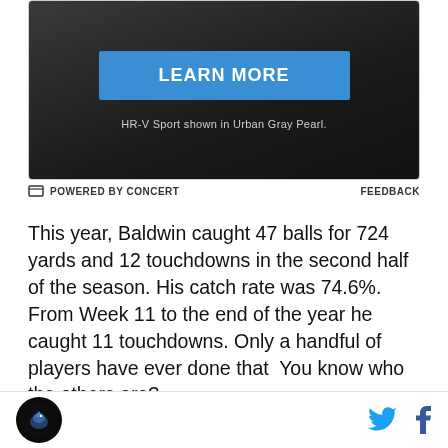[Figure (other): Advertisement banner with dark background showing a 'LEARN MORE' blue button and caption 'HR-V Sport shown in Urban Gray Pearl.']
POWERED BY CONCERT    FEEDBACK
This year, Baldwin caught 47 balls for 724 yards and 12 touchdowns in the second half of the season. His catch rate was 74.6%. From Week 11 to the end of the year he caught 11 touchdowns. Only a handful of players have ever done that  You know who the others are?
Sterling Sharpe. (Had 13, the most ever. Everyone else
[Figure (logo): Sports website logo at bottom left — circular dark badge with bird emblem]